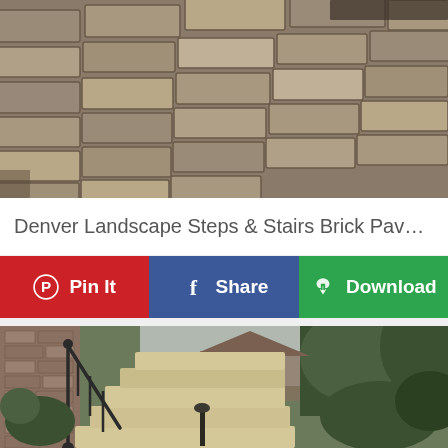[Figure (photo): Aerial/angled view of stone brick paver steps arranged in a staircase pattern, gray-brown tones]
Denver Landscape Steps & Stairs Brick Paver Steps H...
[Figure (infographic): Action bar with three buttons: Pin It (red), Share (blue), Download (green)]
[Figure (photo): Outdoor landscape stone steps with black metal railing leading up along a brick house exterior, surrounded by trees and garden plants]